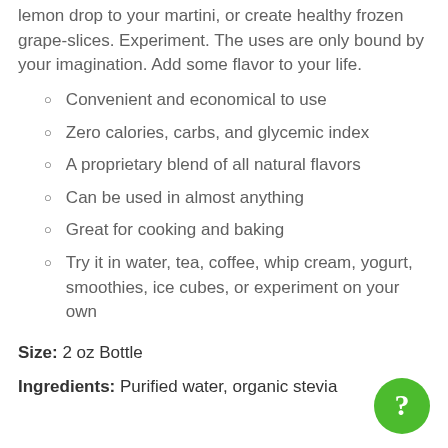lemon drop to your martini, or create healthy frozen grape-slices. Experiment. The uses are only bound by your imagination. Add some flavor to your life.
Convenient and economical to use
Zero calories, carbs, and glycemic index
A proprietary blend of all natural flavors
Can be used in almost anything
Great for cooking and baking
Try it in water, tea, coffee, whip cream, yogurt, smoothies, ice cubes, or experiment on your own
Size: 2 oz Bottle
Ingredients: Purified water, organic stevia